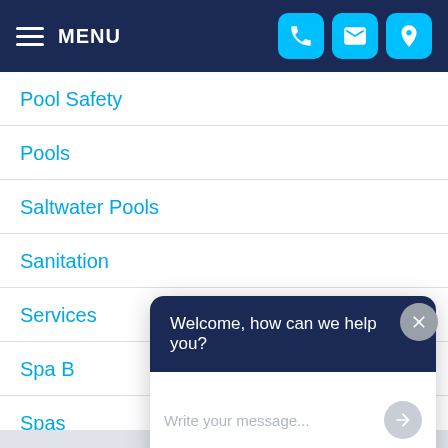MENU
Pool Safety
Pools
Saltwater Pools
Sanitation
Services
Spa B[...]
Spas[...]
[Figure (screenshot): Chat widget popup with dark navy header saying 'Welcome, how can we help you?' and a white message input area with placeholder text 'Write your message...' and an upload/send arrow button. A grey X close button appears in the top-right of the widget area.]